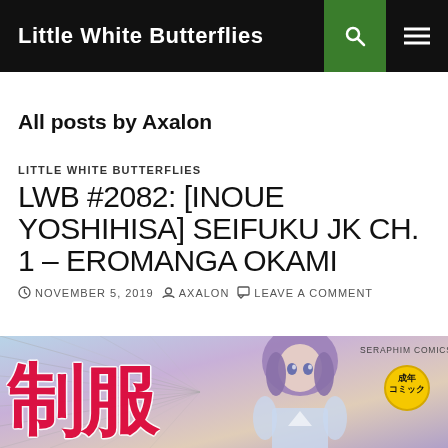Little White Butterflies
All posts by Axalon
LITTLE WHITE BUTTERFLIES
LWB #2082: [INOUE YOSHIHISA] SEIFUKU JK CH. 1 – EROMANGA OKAMI
NOVEMBER 5, 2019  AXALON  LEAVE A COMMENT
[Figure (illustration): Manga cover image showing Japanese characters and an illustrated female character with purple hair. Seraphim Comics label and age badge visible in top right.]